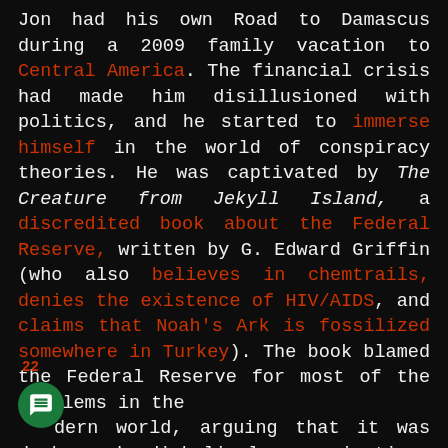Jon had his own Road to Damascus during a 2009 family vacation to Central America. The financial crisis had made him disillusioned with politics, and he started to immerse himself in the world of conspiracy theories. He was captivated by The Creature from Jekyll Island, a discredited book about the Federal Reserve, written by G. Edward Griffin (who also believes in chemtrails, denies the existence of HIV/AIDS, and claims that Noah's Ark is fossilized somewhere in Turkey). The book blamed the Federal Reserve for most of the problems in the modern world, arguing that it was dark and diabolical organization, designed and controlled by
22